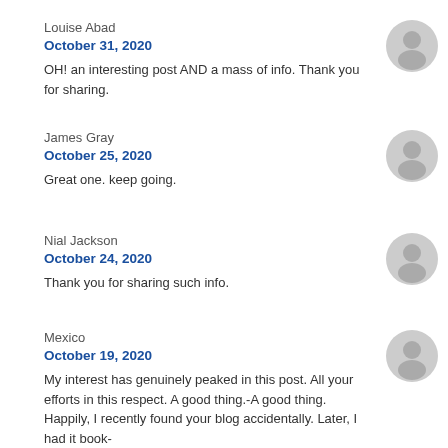Louise Abad
October 31, 2020
OH! an interesting post AND a mass of info. Thank you for sharing.
James Gray
October 25, 2020
Great one. keep going.
Nial Jackson
October 24, 2020
Thank you for sharing such info.
Mexico
October 19, 2020
My interest has genuinely peaked in this post. All your efforts in this respect. A good thing.-A good thing. Happily, I recently found your blog accidentally. Later, I had it book-